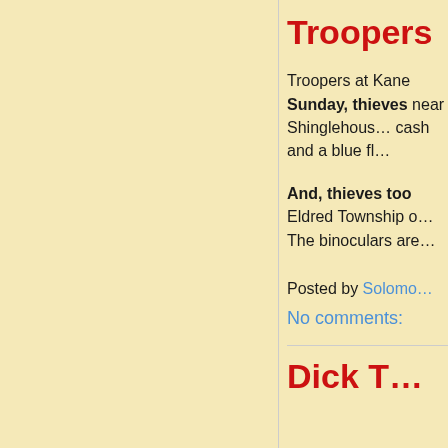Troopers
Troopers at Kane Sunday, thieves near Shinglehouse cash and a blue fl
And, thieves too Eldred Township o The binoculars are
Posted by Solomon
No comments:
Dick T